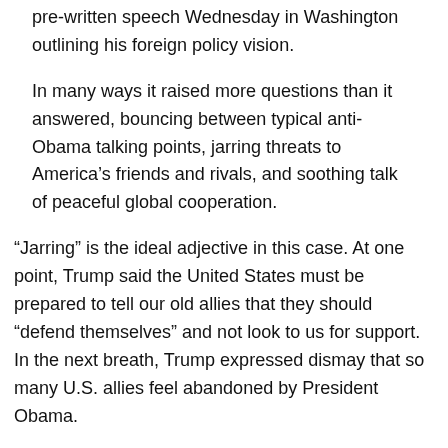pre-written speech Wednesday in Washington outlining his foreign policy vision.
In many ways it raised more questions than it answered, bouncing between typical anti-Obama talking points, jarring threats to America’s friends and rivals, and soothing talk of peaceful global cooperation.
“Jarring” is the ideal adjective in this case. At one point, Trump said the United States must be prepared to tell our old allies that they should “defend themselves” and not look to us for support. In the next breath, Trump expressed dismay that so many U.S. allies feel abandoned by President Obama.
How did the Republican frontrunner reconcile the contradiction? He didn’t — Trump simply transitioned to